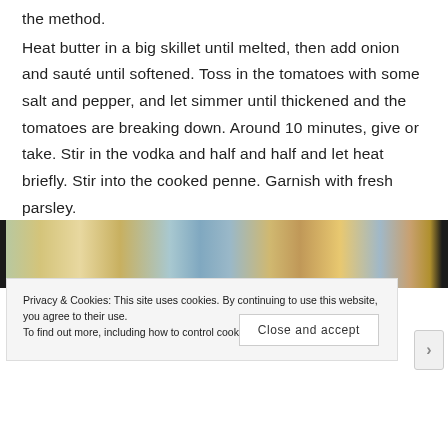the method. Heat butter in a big skillet until melted, then add onion and sauté until softened. Toss in the tomatoes with some salt and pepper, and let simmer until thickened and the tomatoes are breaking down. Around 10 minutes, give or take. Stir in the vodka and half and half and let heat briefly. Stir into the cooked penne. Garnish with fresh parsley.
[Figure (photo): Partial view of a food photo showing pasta or a cooked dish, cropped at top and bottom by overlapping UI elements]
Privacy & Cookies: This site uses cookies. By continuing to use this website, you agree to their use.
To find out more, including how to control cookies, see here: Cookie Policy
Close and accept